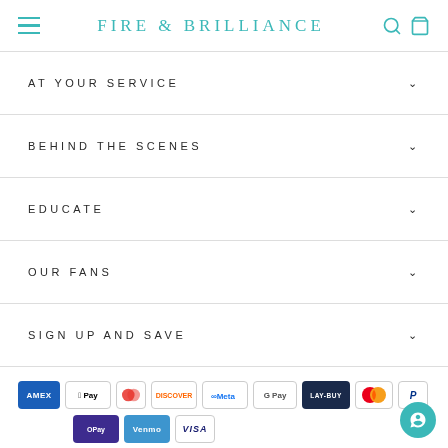FIRE & BRILLIANCE
AT YOUR SERVICE
BEHIND THE SCENES
EDUCATE
OUR FANS
SIGN UP AND SAVE
[Figure (logo): Payment method icons: Amex, Apple Pay, Diners, Discover, Meta Pay, Google Pay, Lay-Buy, Mastercard, PayPal, OPay, Venmo, Visa]